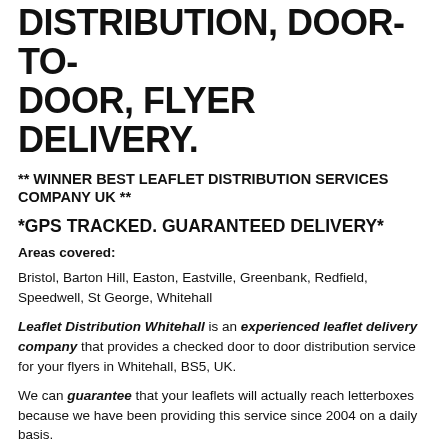DISTRIBUTION, DOOR-TO-DOOR, FLYER DELIVERY.
** WINNER BEST LEAFLET DISTRIBUTION SERVICES COMPANY UK **
*GPS TRACKED. GUARANTEED DELIVERY*
Areas covered:
Bristol, Barton Hill, Easton, Eastville, Greenbank, Redfield, Speedwell, St George, Whitehall
Leaflet Distribution Whitehall is an experienced leaflet delivery company that provides a checked door to door distribution service for your flyers in Whitehall, BS5, UK.
We can guarantee that your leaflets will actually reach letterboxes because we have been providing this service since 2004 on a daily basis.